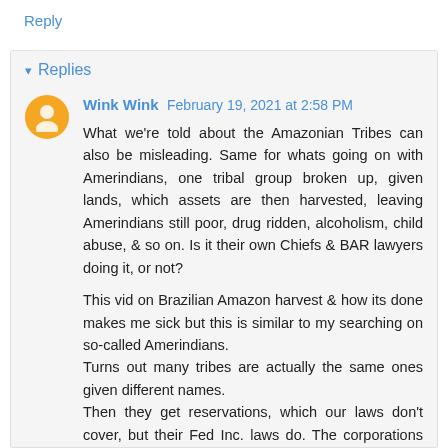Reply
▾ Replies
Wink Wink February 19, 2021 at 2:58 PM
What we're told about the Amazonian Tribes can also be misleading. Same for whats going on with Amerindians, one tribal group broken up, given lands, which assets are then harvested, leaving Amerindians still poor, drug ridden, alcoholism, child abuse, & so on. Is it their own Chiefs & BAR lawyers doing it, or not?

This vid on Brazilian Amazon harvest & how its done makes me sick but this is similar to my searching on so-called Amerindians.
Turns out many tribes are actually the same ones given different names.
Then they get reservations, which our laws don't cover, but their Fed Inc. laws do. The corporations go in & pillage.
Yet we're to keep paying the injuns when their